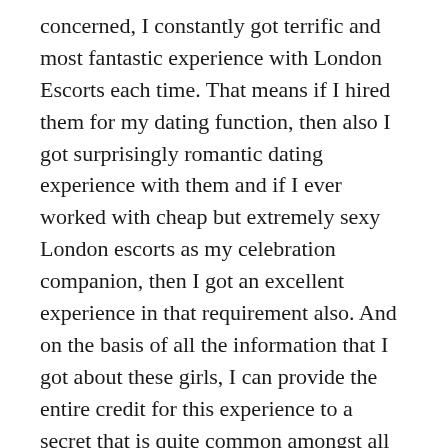concerned, I constantly got terrific and most fantastic experience with London Escorts each time. That means if I hired them for my dating function, then also I got surprisingly romantic dating experience with them and if I ever worked with cheap but extremely sexy London escorts as my celebration companion, then I got an excellent experience in that requirement also. And on the basis of all the information that I got about these girls, I can provide the entire credit for this experience to a secret that is quite common amongst all the London Escorts.
And if you are likewise ready to have the same experience that I got with these beautiful and